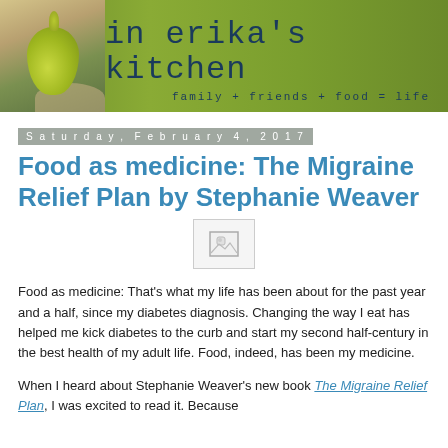in erika's kitchen — family + friends + food = life
Saturday, February 4, 2017
Food as medicine: The Migraine Relief Plan by Stephanie Weaver
[Figure (photo): Broken image placeholder icon]
Food as medicine: That's what my life has been about for the past year and a half, since my diabetes diagnosis. Changing the way I eat has helped me kick diabetes to the curb and start my second half-century in the best health of my adult life. Food, indeed, has been my medicine.
When I heard about Stephanie Weaver's new book The Migraine Relief Plan, I was excited to read it. Because